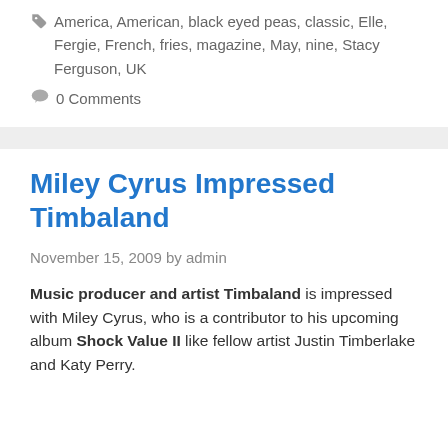America, American, black eyed peas, classic, Elle, Fergie, French, fries, magazine, May, nine, Stacy Ferguson, UK
0 Comments
Miley Cyrus Impressed Timbaland
November 15, 2009 by admin
Music producer and artist Timbaland is impressed with Miley Cyrus, who is a contributor to his upcoming album Shock Value II like fellow artist Justin Timberlake and Katy Perry.